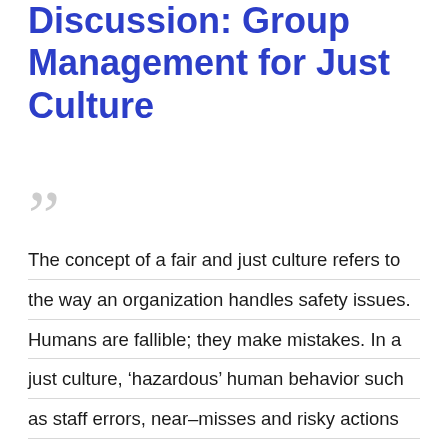Discussion: Group Management for Just Culture
The concept of a fair and just culture refers to the way an organization handles safety issues. Humans are fallible; they make mistakes. In a just culture, 'hazardous' human behavior such as staff errors, near–misses and risky actions are identified and discussed openly in hopes of finding ways to improve processes and systems—not to identify and punish the individual.
—Pepe & Caltado, 2011